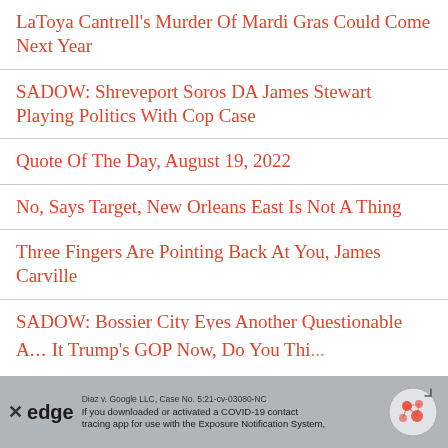LaToya Cantrell's Murder Of Mardi Gras Could Come Next Year
SADOW: Shreveport Soros DA James Stewart Playing Politics With Cop Case
Quote Of The Day, August 19, 2022
No, Says Target, New Orleans East Is Not A Thing
Three Fingers Are Pointing Back At You, James Carville
SADOW: Bossier City Eyes Another Questionable Sweetheart Deal
A... It Trump's GOP Now, Do You Thi...
Diaz v. Google LLC, Case No. 5:21-cv-03080-NC
If you downloaded or activated a COVID-19 contact tracing app for use with the Exposure Notification System,